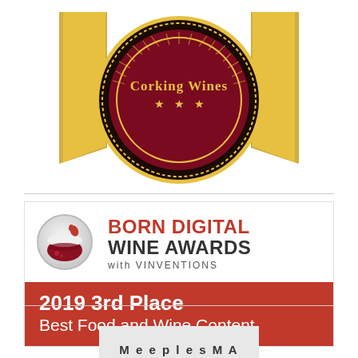[Figure (logo): Corking Wines award medal — gold ribbon badge with dark red/maroon circular center, gold stars and radiating lines, text 'Corking Wines' in gold on dark red background]
[Figure (logo): Born Digital Wine Awards with Vinventions logo — circular wine glass icon on left (gray/silver circle with dark red wine and bubbles), text 'BORN DIGITAL WINE AWARDS with VINVENTIONS' on right in red and dark gray. Red banner below reads '2019 3rd Place / Best Food and Wine Content']
2019 3rd Place Best Food and Wine Content
[Figure (logo): Partially visible logo at bottom, gray background, appears to show stylized text — likely 'Meeples' or similar, cut off at bottom of page]